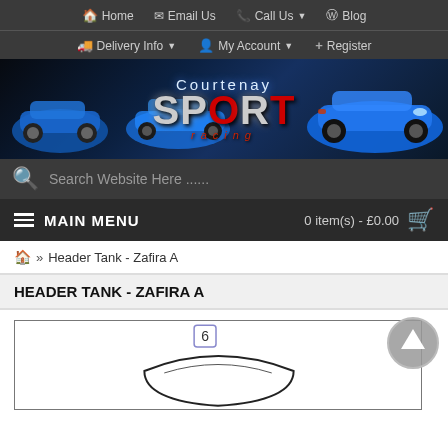Home  Email Us  Call Us  Blog
Delivery Info  My Account  Register
[Figure (logo): Courtenay Sport Racing banner with blue sports cars on dark background, large red and silver Sport logo text]
Search Website Here ......
MAIN MENU   0 item(s) - £0.00
Header Tank - Zafira A
HEADER TANK - ZAFIRA A
[Figure (photo): Product diagram/photo showing header tank for Zafira A, partially visible with number 6 label and curved tank outline]